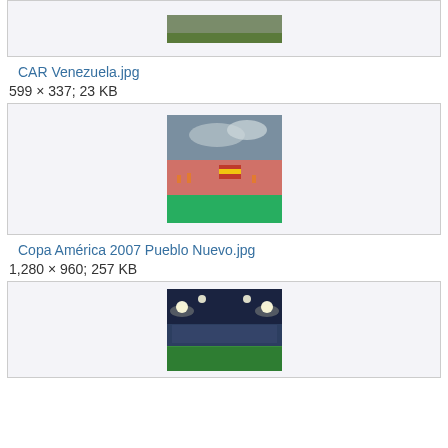[Figure (photo): Partial image of CAR Venezuela stadium/field, top of page]
CAR Venezuela.jpg
599 × 337; 23 KB
[Figure (photo): Copa América 2007 Pueblo Nuevo stadium crowd with Spanish flag]
Copa América 2007 Pueblo Nuevo.jpg
1,280 × 960; 257 KB
[Figure (photo): Night stadium photo, third image, partially visible]